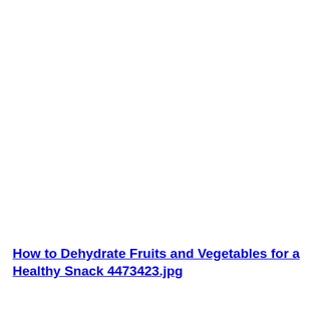How to Dehydrate Fruits and Vegetables for a Healthy Snack 4473423.jpg